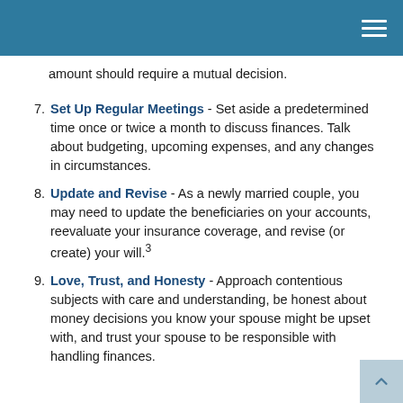amount should require a mutual decision.
7. Set Up Regular Meetings - Set aside a predetermined time once or twice a month to discuss finances. Talk about budgeting, upcoming expenses, and any changes in circumstances.
8. Update and Revise - As a newly married couple, you may need to update the beneficiaries on your accounts, reevaluate your insurance coverage, and revise (or create) your will.³
9. Love, Trust, and Honesty - Approach contentious subjects with care and understanding, be honest about money decisions you know your spouse might be upset with, and trust your spouse to be responsible with handling finances.